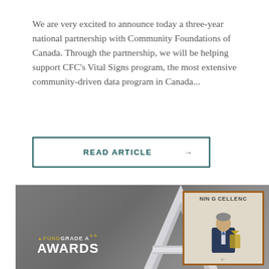We are very excited to announce today a three-year national partnership with Community Foundations of Canada. Through the partnership, we will be helping support CFC's Vital Signs program, the most extensive community-driven data program in Canada...
READ ARTICLE →
[Figure (photo): FundGrade A+ Awards image showing a large silver A letter, a gold plus sign, a framed award certificate reading 'NING EXCELLENCE', and a person in a suit holding an award, on a grey background.]